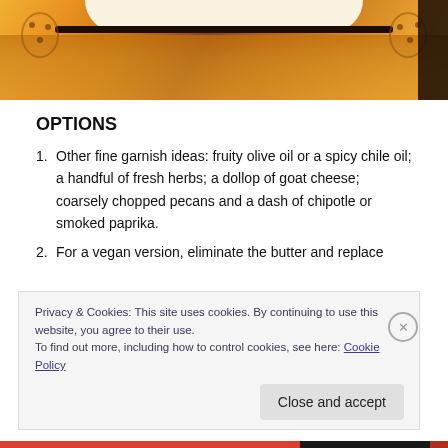[Figure (photo): Close-up photo of a decorative bowl with orange and yellow patterned fabric or background, showing the rim of a bowl with cream/white interior]
OPTIONS
Other fine garnish ideas: fruity olive oil or a spicy chile oil; a handful of fresh herbs; a dollop of goat cheese; coarsely chopped pecans and a dash of chipotle or smoked paprika.
For a vegan version, eliminate the butter and replace
Privacy & Cookies: This site uses cookies. By continuing to use this website, you agree to their use.
To find out more, including how to control cookies, see here: Cookie Policy
Close and accept